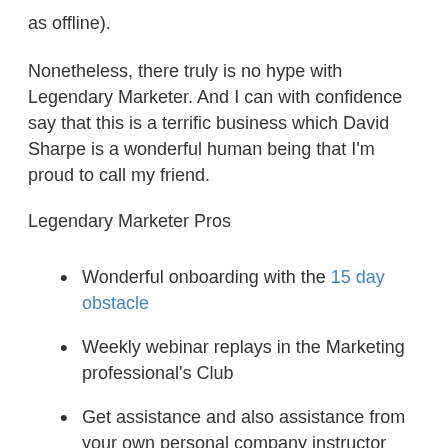as offline).
Nonetheless, there truly is no hype with Legendary Marketer. And I can with confidence say that this is a terrific business which David Sharpe is a wonderful human being that I'm proud to call my friend.
Legendary Marketer Pros
Wonderful onboarding with the 15 day obstacle
Weekly webinar replays in the Marketing professional's Club
Get assistance and also assistance from your own personal company instructor
Comprehensive paid traiffic strategies